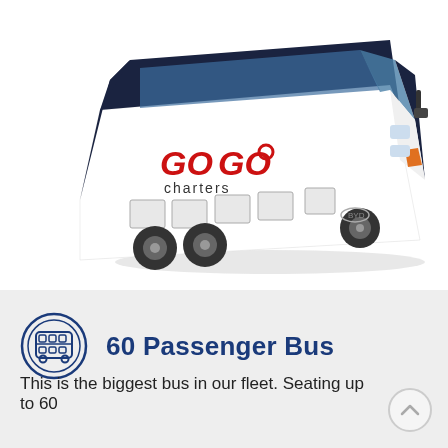[Figure (photo): A large white and dark blue GoGo Charters motor coach bus shown at an angle, with the GOGO charters logo in red on the side.]
60 Passenger Bus
This is the biggest bus in our fleet. Seating up to 60